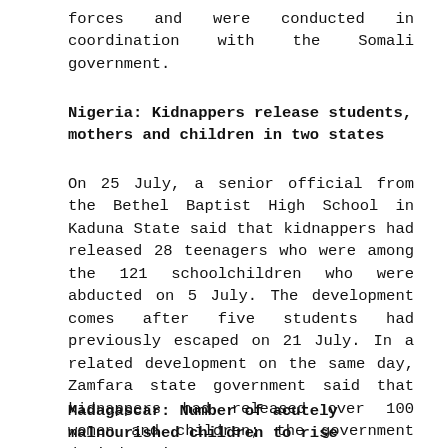forces and were conducted in coordination with the Somali government.
Nigeria: Kidnappers release students, mothers and children in two states
On 25 July, a senior official from the Bethel Baptist High School in Kaduna State said that kidnappers had released 28 teenagers who were among the 121 schoolchildren who were abducted on 5 July. The development comes after five students had previously escaped on 21 July. In a related development on the same day, Zamfara state government said that kidnappers had released over 100 women and children; the government denied paying any ransom.
Madagascar: Number of acutely malnourished children to rise fourfold, says UNICEF and WFP